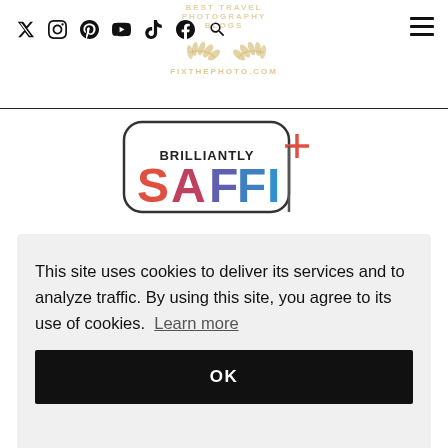BEST TRAVEL PHOTOGRAPHY BLOGS | FIXTHEPHOTO.COM [social icons: Twitter, Instagram, Pinterest, YouTube, TikTok, Facebook, Search] [hamburger menu]
[Figure (logo): Brilliantly SAFFI+ logo with rounded rectangle border and red/blue text]
This site uses cookies to deliver its services and to analyze traffic. By using this site, you agree to its use of cookies. Learn more
OK